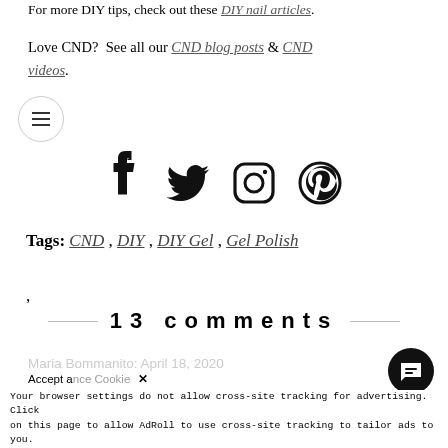For more DIY tips, check out these DIY nail articles.
Love CND? See all our CND blog posts & CND videos.
[Figure (other): Social media icons: Facebook, Twitter, Instagram, Pinterest]
Tags: CND , DIY , DIY Gel , Gel Polish ,
13 comments
Maria Bommanito: April 18, 2020
Your browser settings do not allow cross-site tracking for advertising. Click on this page to allow AdRoll to use cross-site tracking to tailor ads to you. Learn more or opt out of this AdRoll tracking by clicking here. This message only appears once.